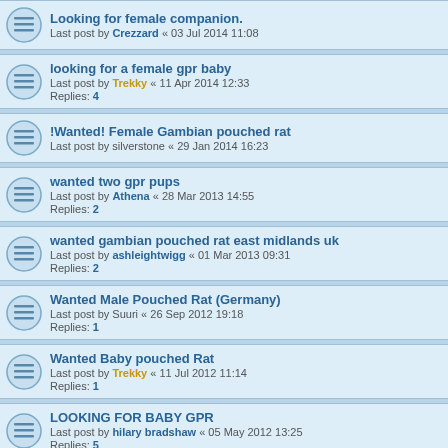Looking for female companion.
Last post by Crezzard « 03 Jul 2014 11:08
looking for a female gpr baby
Last post by Trekky « 11 Apr 2014 12:33
Replies: 4
!Wanted! Female Gambian pouched rat
Last post by silverstone « 29 Jan 2014 16:23
wanted two gpr pups
Last post by Athena « 28 Mar 2013 14:55
Replies: 2
wanted gambian pouched rat east midlands uk
Last post by ashleightwigg « 01 Mar 2013 09:31
Replies: 2
Wanted Male Pouched Rat (Germany)
Last post by Suuri « 26 Sep 2012 19:18
Replies: 1
Wanted Baby pouched Rat
Last post by Trekky « 11 Jul 2012 11:14
Replies: 1
LOOKING FOR BABY GPR
Last post by hilary bradshaw « 05 May 2012 13:25
Replies: 5
Male or Female GPR Wanted - Excellent Home :)
Last post by hilary bradshaw « 02 May 2012 18:03
Replies: 1
WANTED - female kitten